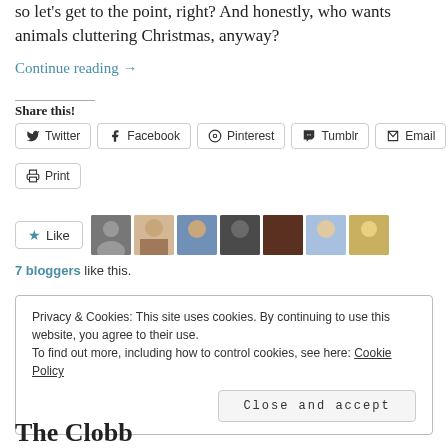so let's get to the point, right? And honestly, who wants animals cluttering Christmas, anyway?
Continue reading →
Share this!
Twitter  Facebook  Pinterest  Tumblr  Email  Print
[Figure (infographic): Like button with star icon and 7 blogger avatar thumbnails]
7 bloggers like this.
Privacy & Cookies: This site uses cookies. By continuing to use this website, you agree to their use.
To find out more, including how to control cookies, see here: Cookie Policy
Close and accept
The Clobb...